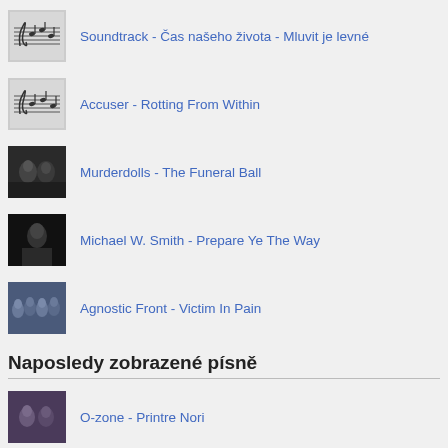Soundtrack - Čas našeho života - Mluvit je levné
Accuser - Rotting From Within
Murderdolls - The Funeral Ball
Michael W. Smith - Prepare Ye The Way
Agnostic Front - Victim In Pain
Naposledy zobrazené písně
O-zone - Printre Nori
Blaník - různí zpěváci - Řekni kde ty kytky jsou
Monrose - Dont Touch The Fader
Audio Adrenaline - Man of God
Newton Faulkner - Dream Catch Me
Hollywood Undead - Been To Hell
Pulp - Bar italia
Soundtrack - Resident Evil:Apocalypsa - 36 Crazyfists - Bloodwork